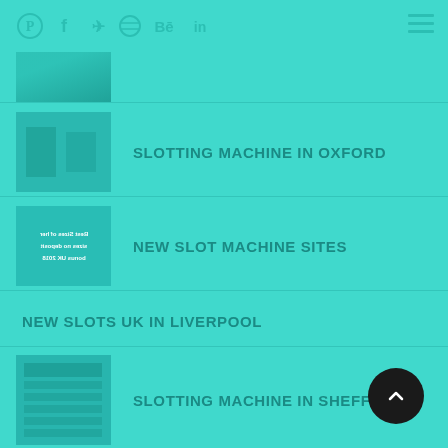Social icons: Pinterest, Facebook, Twitter, Dribbble, Behance, LinkedIn | Hamburger menu
[Figure (photo): Thumbnail image (partially visible at top) - teal toned photo]
SLOTTING MACHINE IN OXFORD
[Figure (photo): Thumbnail - teal image of mechanical/industrial subject]
NEW SLOT MACHINE SITES
[Figure (photo): Thumbnail - reversed text image about slot sizes no deposit bonus UK 2018]
NEW SLOTS UK IN LIVERPOOL
SLOTTING MACHINE IN SHEFFIELD
[Figure (photo): Thumbnail - text document/table image in teal tone]